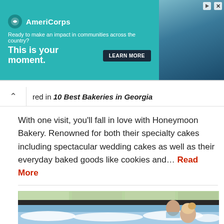[Figure (infographic): AmeriCorps advertisement banner with teal background on left showing logo, tagline 'Ready to make an impact in communities across the country?' and headline 'This is your moment.' with LEARN MORE button. Right side shows a photo of people.]
red in 10 Best Bakeries in Georgia
With one visit, you'll fall in love with Honeymoon Bakery. Renowned for both their specialty cakes including spectacular wedding cakes as well as their everyday baked goods like cookies and… Read More
[Figure (photo): Photo of a couple relaxing in a jacuzzi/hot tub with bubbling water, indoor pool setting with large windows in the background.]